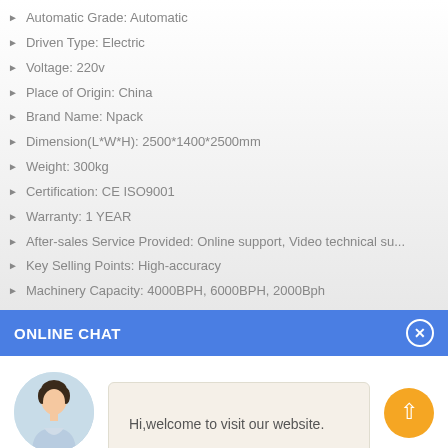Automatic Grade: Automatic
Driven Type: Electric
Voltage: 220v
Place of Origin: China
Brand Name: Npack
Dimension(L*W*H): 2500*1400*2500mm
Weight: 300kg
Certification: CE ISO9001
Warranty: 1 YEAR
After-sales Service Provided: Online support, Video technical su...
Key Selling Points: High-accuracy
Machinery Capacity: 4000BPH, 6000BPH, 2000Bph
ONLINE CHAT
[Figure (photo): Avatar photo of a woman named Cilina]
Hi,welcome to visit our website.